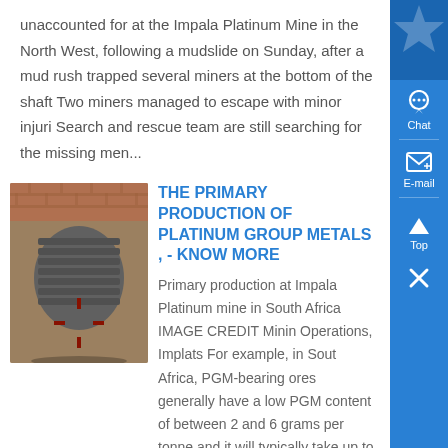unaccounted for at the Impala Platinum Mine in the North West, following a mudslide on Sunday, after a mud rush trapped several miners at the bottom of the shaft Two miners managed to escape with minor injuri Search and rescue team are still searching for the missing men...
[Figure (photo): Photo of an industrial electric motor with a red rotor/wheel component, placed on a ground surface near a brick wall]
THE PRIMARY PRODUCTION OF PLATINUM GROUP METALS , - Know More
Primary production at Impala Platinum mine in South Africa IMAGE CREDIT Mining Operations, Implats For example, in South Africa, PGM-bearing ores generally have a low PGM content of between 2 and 6 grams per tonne and it will typically take up to six months and between 10 and 40